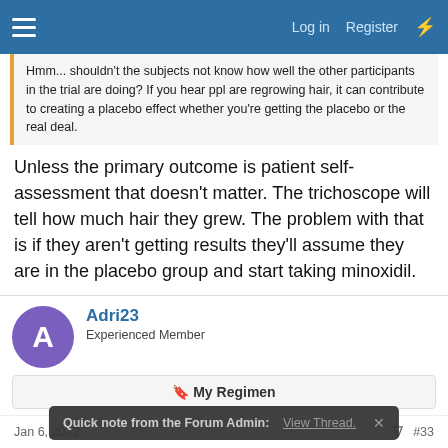Log in  Register
Hmm... shouldn't the subjects not know how well the other participants in the trial are doing? If you hear ppl are regrowing hair, it can contribute to creating a placebo effect whether you're getting the placebo or the real deal.
Unless the primary outcome is patient self-assessment that doesn't matter. The trichoscope will tell how much hair they grew. The problem with that is if they aren't getting results they'll assume they are in the placebo group and start taking minoxidil.
Adri23
Experienced Member
My Regimen
Jan 6, 2022  #33
pegasus2 said:
Unless the primary outcome is patient self-assessment that doesn't
Quick note from the Forum Admin: View Thread.